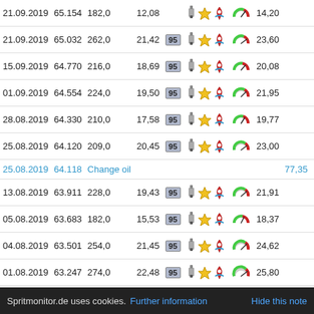| Date | ODO | km | L/100km | Fuel |  |  |  | €/100km |  |
| --- | --- | --- | --- | --- | --- | --- | --- | --- | --- |
| 21.09.2019 | 65.032 | 262,0 | 21,42 | 95 |  |  |  | 23,60 |  |
| 15.09.2019 | 64.770 | 216,0 | 18,69 | 95 |  |  |  | 20,08 |  |
| 01.09.2019 | 64.554 | 224,0 | 19,50 | 95 |  |  |  | 21,95 |  |
| 28.08.2019 | 64.330 | 210,0 | 17,58 | 95 |  |  |  | 19,77 |  |
| 25.08.2019 | 64.120 | 209,0 | 20,45 | 95 |  |  |  | 23,00 |  |
| 25.08.2019 | 64.118 | Change oil |  |  |  |  |  | 77,35 |  |
| 13.08.2019 | 63.911 | 228,0 | 19,43 | 95 |  |  |  | 21,91 |  |
| 05.08.2019 | 63.683 | 182,0 | 15,53 | 95 |  |  |  | 18,37 |  |
| 04.08.2019 | 63.501 | 254,0 | 21,45 | 95 |  |  |  | 24,62 |  |
| 01.08.2019 | 63.247 | 274,0 | 22,48 | 95 |  |  |  | 25,80 |  |
Spritmonitor.de uses cookies. Further information   Hide this note